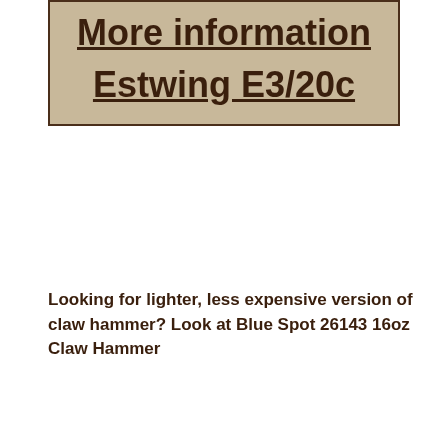[Figure (other): Beige/tan box with border containing two lines of underlined bold text: 'More information' and 'Estwing E3/20c']
Looking for lighter, less expensive version of claw hammer? Look at Blue Spot 26143 16oz Claw Hammer